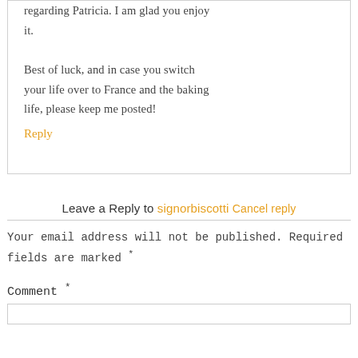regarding Patricia. I am glad you enjoy it.
Best of luck, and in case you switch your life over to France and the baking life, please keep me posted!
Reply
Leave a Reply to signorbiscotti Cancel reply
Your email address will not be published. Required fields are marked *
Comment *